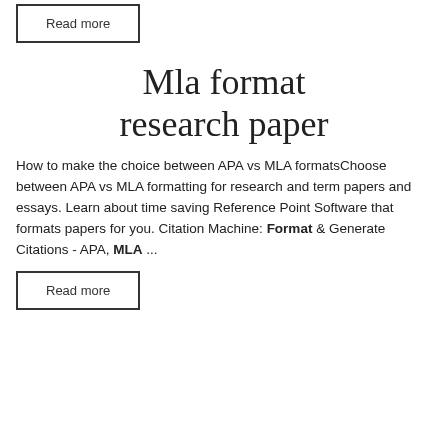Read more
Mla format research paper
How to make the choice between APA vs MLA formatsChoose between APA vs MLA formatting for research and term papers and essays. Learn about time saving Reference Point Software that formats papers for you. Citation Machine: Format & Generate Citations - APA, MLA ...
Read more